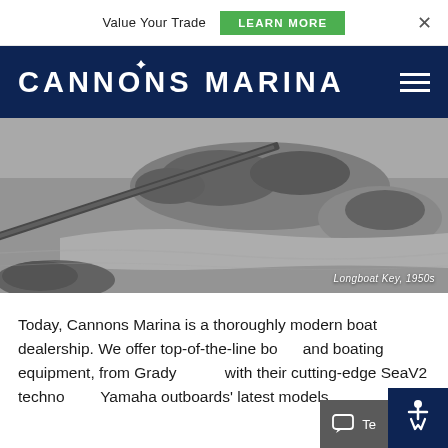Value Your Trade  LEARN MORE  ×
CANNONS MARINA
[Figure (photo): Black and white aerial photograph of Longboat Key in the 1950s, showing the barrier island, bridge causeway, and surrounding water and sandbars. Caption reads: Longboat Key, 1950s]
Today, Cannons Marina is a thoroughly modern boat dealership. We offer top-of-the-line boats and boating equipment, from Grady with their cutting-edge SeaV2 technology, Yamaha outboards' latest models.